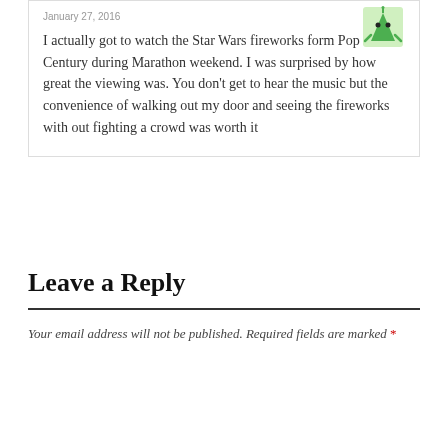January 27, 2016
[Figure (illustration): Small green alien/robot avatar icon in the top-right corner of the comment box]
I actually got to watch the Star Wars fireworks form Pop Century during Marathon weekend. I was surprised by how great the viewing was. You don't get to hear the music but the convenience of walking out my door and seeing the fireworks with out fighting a crowd was worth it
Leave a Reply
Your email address will not be published. Required fields are marked *